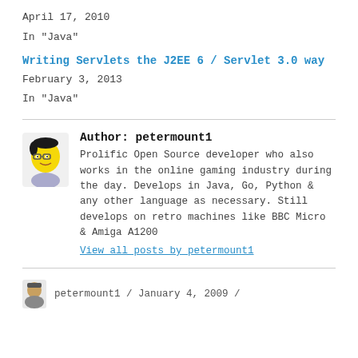April 17, 2010
In "Java"
Writing Servlets the J2EE 6 / Servlet 3.0 way
February 3, 2013
In "Java"
Author: petermount1
Prolific Open Source developer who also works in the online gaming industry during the day. Develops in Java, Go, Python & any other language as necessary. Still develops on retro machines like BBC Micro & Amiga A1200
View all posts by petermount1
petermount1 / January 4, 2009 /